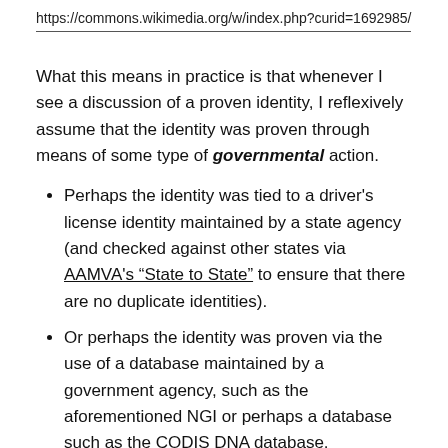https://commons.wikimedia.org/w/index.php?curid=1692985/
What this means in practice is that whenever I see a discussion of a proven identity, I reflexively assume that the identity was proven through means of some type of governmental action.
Perhaps the identity was tied to a driver’s license identity maintained by a state agency (and checked against other states via AAMVA’s “State to State” to ensure that there are no duplicate identities).
Or perhaps the identity was proven via the use of a database maintained by a government agency, such as the aforementioned NGI or perhaps a database such as the CODIS DNA database.
However, I constantly have to remind myself that not everyone thinks as I do, and that for some people an identity proven by governmental means is the worst